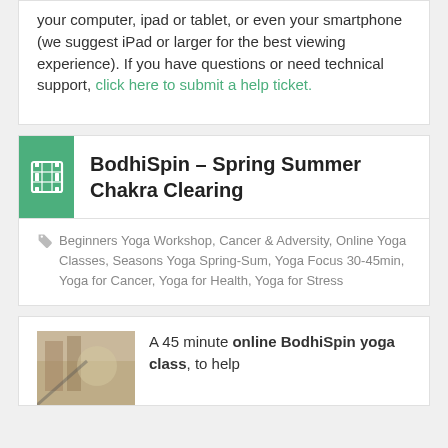Our online yoga videos will work on your computer, ipad or tablet, or even your smartphone (we suggest iPad or larger for the best viewing experience). If you have questions or need technical support, click here to submit a help ticket.
BodhiSpin – Spring Summer Chakra Clearing
Beginners Yoga Workshop, Cancer & Adversity, Online Yoga Classes, Seasons Yoga Spring-Sum, Yoga Focus 30-45min, Yoga for Cancer, Yoga for Health, Yoga for Stress
A 45 minute online BodhiSpin yoga class, to help